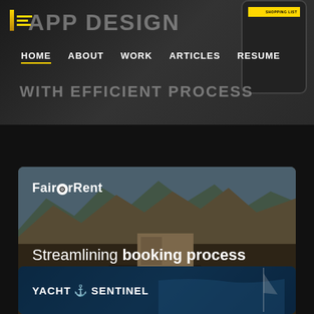[Figure (screenshot): Website hero section with navigation bar showing HOME (active), ABOUT, WORK, ARTICLES, RESUME. Large gray text reads APP DESIGN and WITH EFFICIENT PROCESS. A phone mockup is partially visible on the right.]
[Figure (screenshot): FairCarRent project card. Shows a photo of mountains and a desert road with a dark SUV parked. Logo 'FairCarRent' with gear icon at top left. Text: 'Streamlining booking process UX to increase lead conversion.']
[Figure (screenshot): Yacht Sentinel project card showing dark teal/blue background with logo 'YACHT SENTINEL' with anchor icon and partial mast silhouette on right.]